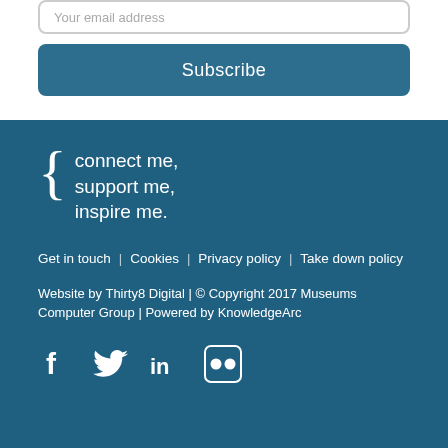Your email address
Subscribe
[Figure (logo): Curly brace logo with text: connect me, support me, inspire me.]
connect me, support me, inspire me.
Get in touch | Cookies | Privacy policy | Take down policy
Website by Thirty8 Digital | © Copyright 2017 Museums Computer Group | Powered by KnowledgeArc
[Figure (infographic): Social media icons: Facebook, Twitter, LinkedIn, Flickr]